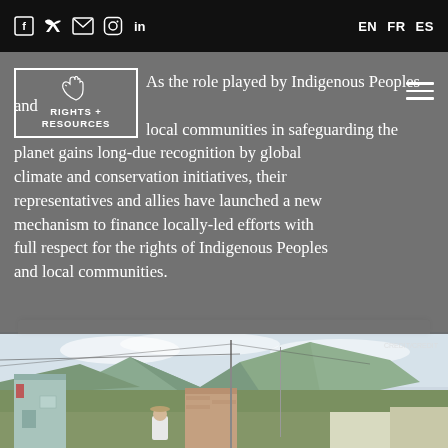Social icons: Facebook, Twitter, Email, Instagram, LinkedIn | Language: EN FR ES
[Figure (logo): Rights + Resources Initiative logo — hands icon with text RIGHTS + RESOURCES]
As the role played by Indigenous Peoples and local communities in safeguarding the planet gains long-due recognition by global climate and conservation initiatives, their representatives and allies have launched a new mechanism to finance locally-led efforts with full respect for the rights of Indigenous Peoples and local communities.
[Figure (photo): Photograph of a village or town scene, showing buildings, a person in white clothing, utility poles and wires, with mountains and overcast sky in the background.]